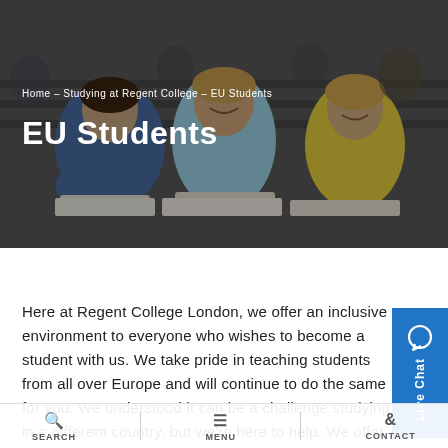[Figure (photo): Students sitting in a lecture hall, smiling and writing notes. A young man in a light blue shirt is in the center, with a girl in a denim jacket on the left and a girl in a yellow top on the right.]
Home – Studying at Regent College – EU Students
EU Students
Here at Regent College London, we offer an inclusive environment to everyone who wishes to become a student with us. We take pride in teaching students from all over Europe and will continue to do the same for you. We understood it can be a challenge studying in a different country, but we're here to help. We offer guidance through
SEARCH   MENU   CONTACT